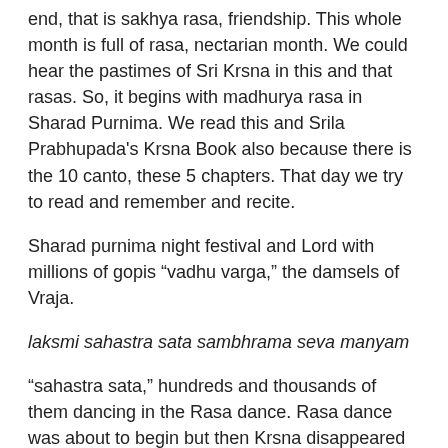end, that is sakhya rasa, friendship. This whole month is full of rasa, nectarian month. We could hear the pastimes of Sri Krsna in this and that rasas. So, it begins with madhurya rasa in Sharad Purnima. We read this and Srila Prabhupada's Krsna Book also because there is the 10 canto, these 5 chapters. That day we try to read and remember and recite.
Sharad purnima night festival and Lord with millions of gopis “vadhu varga,” the damsels of Vraja.
laksmi sahastra sata sambhrama seva manyam
“sahastra sata,” hundreds and thousands of them dancing in the Rasa dance. Rasa dance was about to begin but then Krsna disappeared along with Radharani and then gopis were looking for Krsna everywhere. This is described in the five chapters. Finally, they only ended up finding Radharani. Then Radharani and the gopis go back to the banks Yamuna.